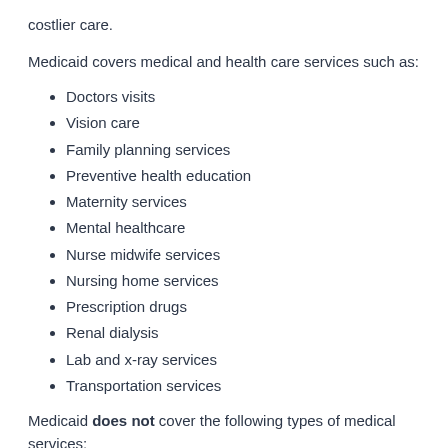costlier care.
Medicaid covers medical and health care services such as:
Doctors visits
Vision care
Family planning services
Preventive health education
Maternity services
Mental healthcare
Nurse midwife services
Nursing home services
Prescription drugs
Renal dialysis
Lab and x-ray services
Transportation services
Medicaid does not cover the following types of medical services: